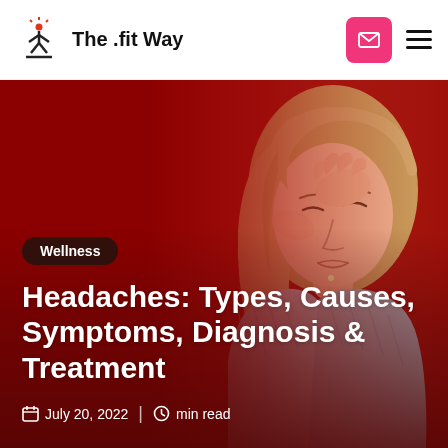The .fit Way
[Figure (photo): Woman with blonde hair pressing her hands to her temples with eyes closed, against a deep red background, suggesting a headache]
Wellness
Headaches: Types, Causes, Symptoms, Diagnosis & Treatment
July 20, 2022  |  min read